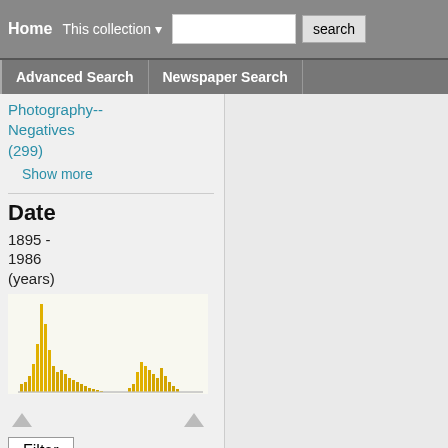Home | This collection ▾ | [search input] | search
Advanced Search | Newspaper Search
Photography-- Negatives (299)
Show more
Date
1895 - 1986 (years)
[Figure (histogram): A histogram showing document counts by year from 1895 to 1986, with a tall spike around 1900-1910 and smaller clusters around 1940-1960. Bars are gold/yellow colored on a light background.]
Filter
Specify date